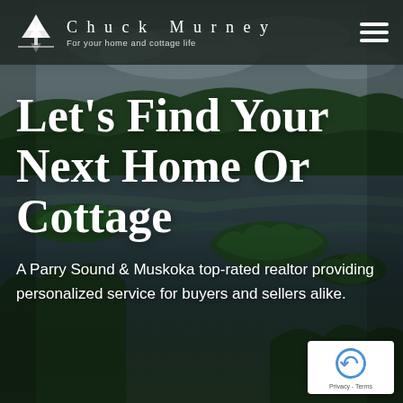[Figure (photo): Aerial view of a lake with forested islands reflecting in dark water, surrounded by dense green forest under a cloudy sky — Muskoka/Parry Sound Ontario cottage country landscape]
Chuck Murney — For your home and cottage life
Let's Find Your Next Home Or Cottage
A Parry Sound & Muskoka top-rated realtor providing personalized service for buyers and sellers alike.